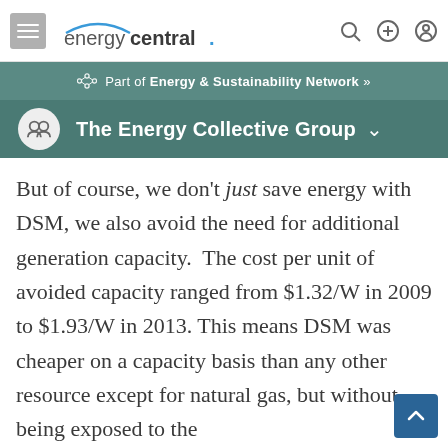energycentral.
Part of Energy & Sustainability Network »
The Energy Collective Group
But of course, we don't just save energy with DSM, we also avoid the need for additional generation capacity.  The cost per unit of avoided capacity ranged from $1.32/W in 2009 to $1.93/W in 2013. This means DSM was cheaper on a capacity basis than any other resource except for natural gas, but without being exposed to the